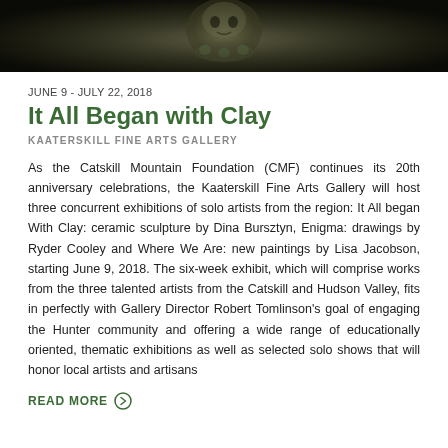[Figure (photo): Close-up photograph of a ceramic sculpture against a dark background, showing a textured face or figure with dark tones]
JUNE 9 - JULY 22, 2018
It All Began with Clay
KAATERSKILL FINE ARTS GALLERY
As the Catskill Mountain Foundation (CMF) continues its 20th anniversary celebrations, the Kaaterskill Fine Arts Gallery will host three concurrent exhibitions of solo artists from the region: It All began With Clay: ceramic sculpture by Dina Bursztyn, Enigma: drawings by Ryder Cooley and Where We Are: new paintings by Lisa Jacobson, starting June 9, 2018. The six-week exhibit, which will comprise works from the three talented artists from the Catskill and Hudson Valley, fits in perfectly with Gallery Director Robert Tomlinson's goal of engaging the Hunter community and offering a wide range of educationally oriented, thematic exhibitions as well as selected solo shows that will honor local artists and artisans
READ MORE